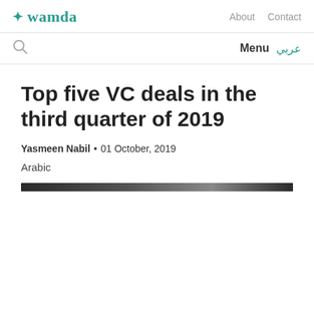wamda — About   Contact
Search   Menu   عربي
Top five VC deals in the third quarter of 2019
Yasmeen Nabil • 01 October, 2019
Arabic